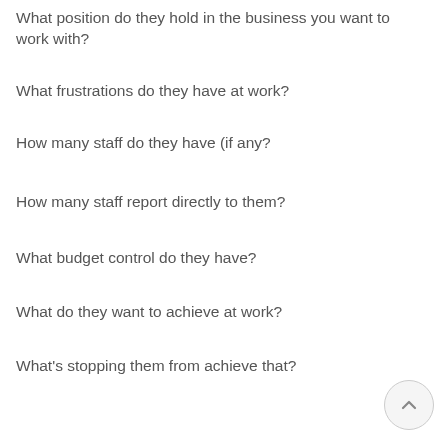What position do they hold in the business you want to work with?
What frustrations do they have at work?
How many staff do they have (if any?
How many staff report directly to them?
What budget control do they have?
What do they want to achieve at work?
What's stopping them from achieve that?
What hobbies and passions do they have?
Do they take care of themselves physically/emotionally/mentally? – what do they do for this?